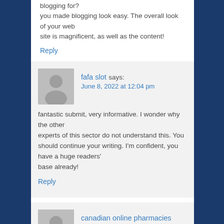blogging for?
you made blogging look easy. The overall look of your web
site is magnificent, as well as the content!
Reply
fafa slot says:
June 8, 2022 at 12:04 pm
fantastic submit, very informative. I wonder why the other
experts of this sector do not understand this. You should continue your writing. I'm confident, you have a huge readers'
base already!
Reply
canadian online pharmacies says: